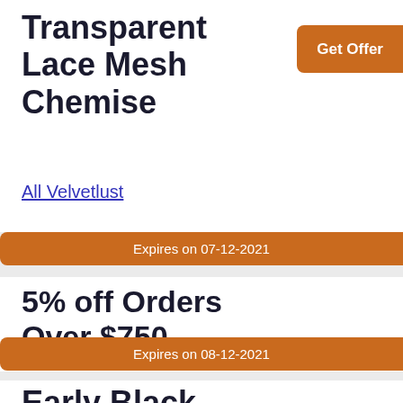Transparent Lace Mesh Chemise
All Velvetlust
Get Offer
Expires on 07-12-2021
5% off Orders Over $750.
All Door to Door
Get Code
Expires on 08-12-2021
Early Black